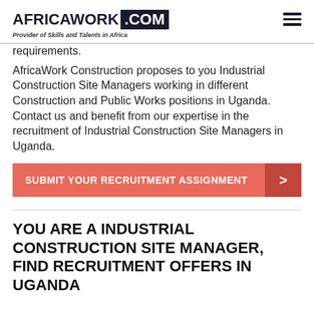AFRICAWORK .COM — Provider of Skills and Talents in Africa
requirements.
AfricaWork Construction proposes to you Industrial Construction Site Managers working in different Construction and Public Works positions in Uganda. Contact us and benefit from our expertise in the recruitment of Industrial Construction Site Managers in Uganda.
SUBMIT YOUR RECRUITMENT ASSIGNMENT >
YOU ARE A INDUSTRIAL CONSTRUCTION SITE MANAGER, FIND RECRUITMENT OFFERS IN UGANDA